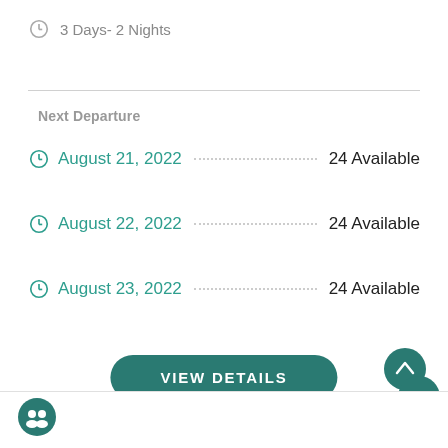3 Days- 2 Nights
Next Departure
August 21, 2022  24 Available
August 22, 2022  24 Available
August 23, 2022  24 Available
VIEW DETAILS